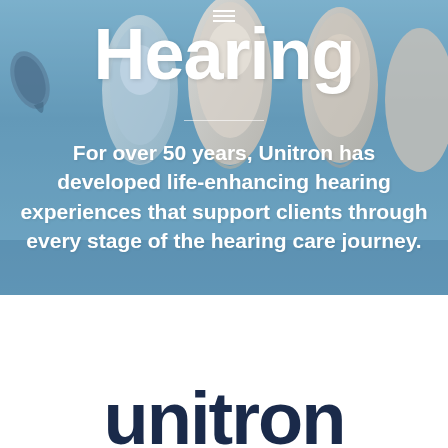[Figure (photo): Background photo of hearing aid devices in blue-gray tones, multiple BTE (behind-the-ear) hearing aids arranged together]
Hearing
For over 50 years, Unitron has developed life-enhancing hearing experiences that support clients through every stage of the hearing care journey.
[Figure (logo): Unitron logo in dark navy blue, partially visible at bottom of page, showing 'unitron' wordmark]